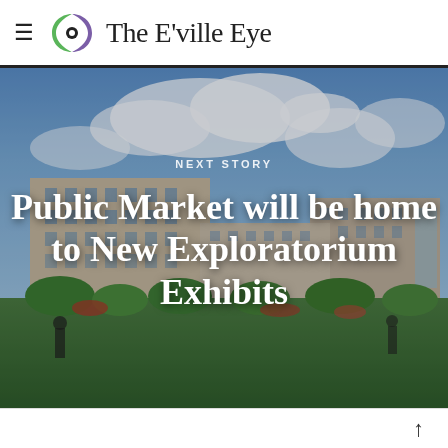The E'ville Eye
[Figure (photo): Aerial/architectural rendering of a large mixed-use building complex with greenery in the foreground, under a partly cloudy sky. Text overlay reads 'NEXT STORY' and 'Public Market will be home to New Exploratorium Exhibits'.]
Public Market will be home to New Exploratorium Exhibits
↑